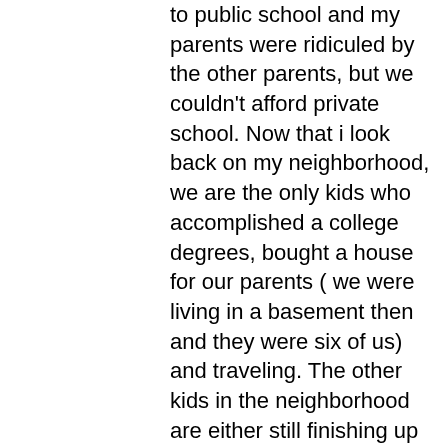to public school and my parents were ridiculed by the other parents, but we couldn't afford private school. Now that i look back on my neighborhood, we are the only kids who accomplished a college degrees, bought a house for our parents ( we were living in a basement then and they were six of us) and traveling. The other kids in the neighborhood are either still finishing up their college degree (we are in our early 30s now), joined the army because they couldn't afford college, dropped out, or working at retail stores. My parents worked hard and now they enjoy traveling and spending time with their grandkids. Instead of paying private school tuitions